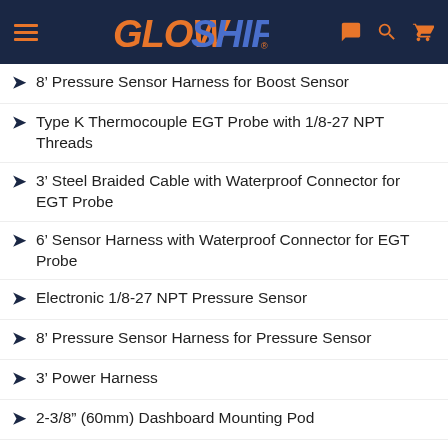GlowShift
8’ Pressure Sensor Harness for Boost Sensor
Type K Thermocouple EGT Probe with 1/8-27 NPT Threads
3’ Steel Braided Cable with Waterproof Connector for EGT Probe
6’ Sensor Harness with Waterproof Connector for EGT Probe
Electronic 1/8-27 NPT Pressure Sensor
8’ Pressure Sensor Harness for Pressure Sensor
3’ Power Harness
2-3/8” (60mm) Dashboard Mounting Pod
Dash Pod Mounting Hardware
Gauge Visor
Mounting Bracket
Mounting Bracket Hardware